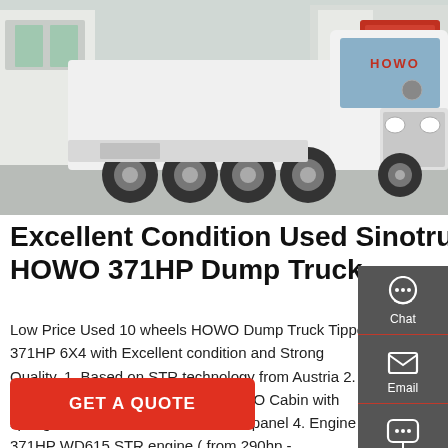[Figure (photo): White HOWO Sinotruck 371HP heavy dump truck/tractor unit parked in an industrial yard, front-side view showing the cab and dual rear axles]
Excellent Condition Used Sinotruck HOWO 371HP Dump Truck
Low Price Used 10 wheels HOWO Dump Truck Tipper 371HP 6X4 with Excellent condition and Strong Quality. 1. Based on STR technology from Austria 2. Cabin:Four point s suspension HOWO Cabin with spring and air shock absorber, VDO panel 4. Engine 371HP WD615 STR engine ( from 290hp - …
[Figure (infographic): Side panel with Chat (headset icon), Email (envelope icon), and Contact (speech bubble icon) buttons on a dark gray background]